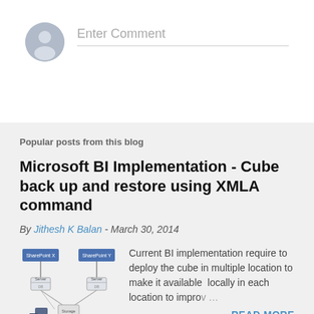[Figure (illustration): Avatar circle with user silhouette icon and comment input field with placeholder text 'Enter Comment']
Popular posts from this blog
Microsoft BI Implementation - Cube back up and restore using XMLA command
By Jithesh K Balan - March 30, 2014
[Figure (schematic): Diagram showing SharePoint X and SharePoint Y boxes connected with arrows and database/server icons below]
Current BI implementation require to deploy the cube in multiple location to make it available  locally in each location to improv…
READ MORE